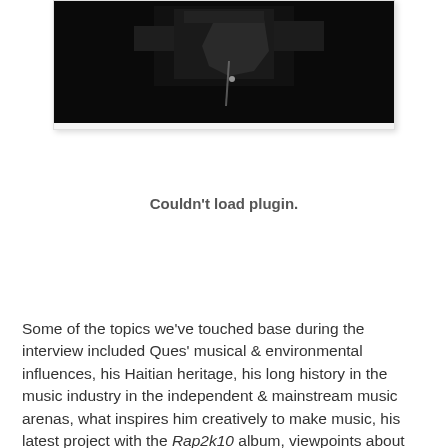[Figure (photo): A dark/black and white photograph showing a person performing, mostly black background with some light elements visible at the top.]
Couldn't load plugin.
Some of the topics we've touched base during the interview included Ques' musical & environmental influences, his Haitian heritage, his long history in the music industry in the independent & mainstream music arenas, what inspires him creatively to make music, his latest project with the Rap2k10 album, viewpoints about the current state of NYC & East